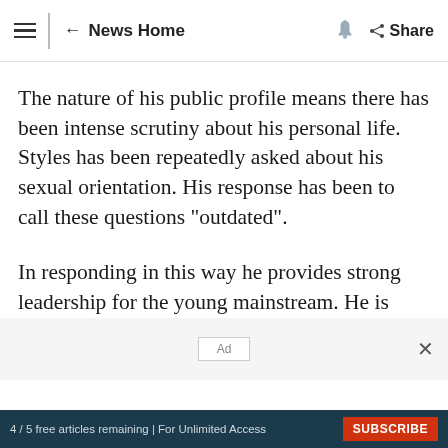← News Home | Share
The nature of his public profile means there has been intense scrutiny about his personal life. Styles has been repeatedly asked about his sexual orientation. His response has been to call these questions "outdated".
In responding in this way he provides strong leadership for the young mainstream. He is essentially saying no one should need to justify
Ad
4 / 5 free articles remaining | For Unlimited Access  SUBSCRIBE